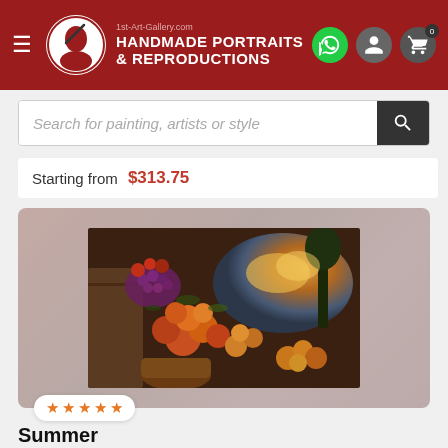[Figure (logo): 1st-Art-Gallery.com header with logo, hamburger menu, brand name HANDMADE PORTRAITS & REPRODUCTIONS, and icons for WhatsApp, account, and cart]
Search for painting, artists or style
Starting from  $313.75
[Figure (photo): Still life painting showing abundant summer fruits including apples, grapes, peaches arranged with a landscape background]
★★★★★
Summer